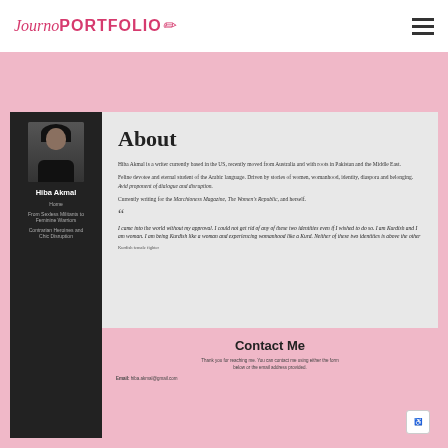Journo PORTFOLIO
[Figure (photo): Profile photo of Hiba Akmal, a woman wearing a hijab, dark background]
Hiba Akmal
Home
From Sexless Militants to Feminine Warriors
Contrarian Heroines and Chic Disruption
About
Hiba Akmal is a writer currently based in the US, recently moved from Australia and with roots in Pakistan and the Middle East.
Feline devotee and eternal student of the Arabic language. Driven by stories of women, womanhood, identity, diaspora and belonging. Avid proponent of dialogue and disruption.
Currently writing for the Marchioness Magazine, The Women's Republic, and herself.
I came into the world without my approval. I could not get rid of any of these two identities even if I wished to do so. I am Kurdish and I am woman. I am being Kurdish like a woman and experiencing womanhood like a Kurd. Neither of these two identities is above the other
Kurdish female fighter
Contact Me
Thank you for reaching me. You can contact me using either the form below or the email address provided.
Email: hiba.akmal@gmail.com